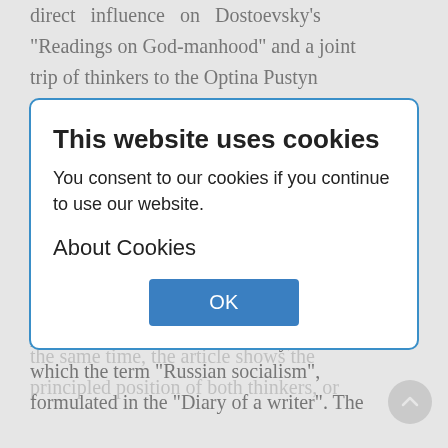direct influence on Dostoevsky's "Readings on God-manhood" and a joint trip of thinkers to the Optina Pustyn monastery. It is also noted that in the novel "The Brothers Karamazov" the idea was expressed about the gradual growing of the state into the truth of the Church in the framework of his project of free theocracy in the 1880s, developing the ideas of F.M. Dostoevsky - about the Church as the best social order. At the same time, the article shows the principled position of both thinkers, opposing the ideal of socialism and the idea of the Christian community, within which the term "Russian socialism", formulated in the "Diary of a writer". The
[Figure (screenshot): Cookie consent modal dialog box with title 'This website uses cookies', body text 'You consent to our cookies if you continue to use our website.', subheading 'About Cookies', and an OK button in blue.]